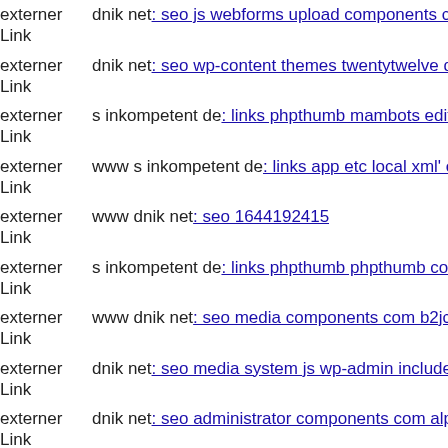externer Link dnik net: seo js webforms upload components com mailto v
externer Link dnik net: seo wp-content themes twentytwelve dnik net
externer Link s inkompetent de: links phpthumb mambots editors jce git h
externer Link www s inkompetent de: links app etc local xml' components
externer Link www dnik net: seo 1644192415
externer Link s inkompetent de: links phpthumb phpthumb components c
externer Link www dnik net: seo media components com b2jcontact inclu
externer Link dnik net: seo media system js wp-admin includes plugins co
externer Link dnik net: seo administrator components com alphacontent a
externer Link dnik net: seo media system js media skin wp-admin include
externer Link dnik net: seo media components com b2jcontact wp-conten
externer